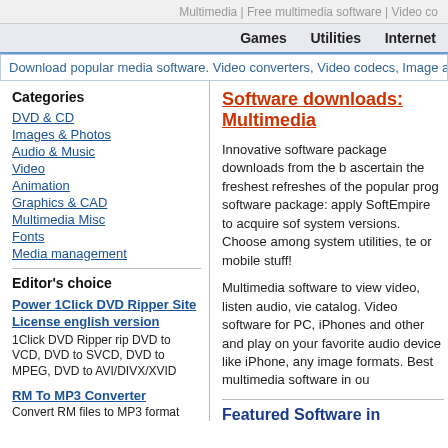Multimedia | Free multimedia software | Video co
Games   Utilities   Internet
Download popular media software. Video converters, Video codecs, Image and Audio s
Categories
DVD & CD
Images & Photos
Audio & Music
Video
Animation
Graphics & CAD
Multimedia Misc
Fonts
Media management
Editor's choice
Power 1Click DVD Ripper Site License english version
1Click DVD Ripper rip DVD to VCD, DVD to SVCD, DVD to MPEG, DVD to AVI/DIVX/XVID
RM To MP3 Converter
Convert RM files to MP3 format with high quality.
Solo Explorer
Software downloads: Multimedia
Innovative software package downloads from the b ascertain the freshest refreshes of the popular prog software package: apply SoftEmpire to acquire sof system versions. Choose among system utilities, te or mobile stuff!
Multimedia software to view video, listen audio, vie catalog. Video software for PC, iPhones and other and play on your favorite audio device like iPhone, any image formats. Best multimedia software in ou
Featured Software in Multimedia
OJOsoft Total Video Converter
Convert video files between various video formats popular audio formats
Browse Multimedia